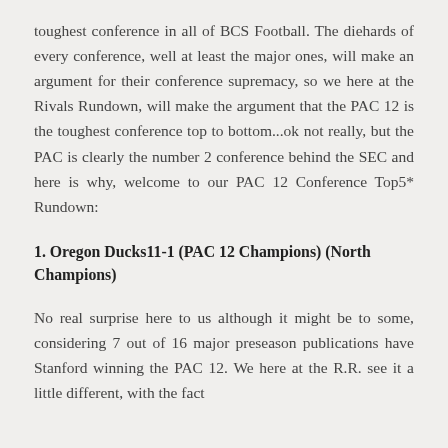toughest conference in all of BCS Football.  The diehards of every conference, well at least the major ones, will make an argument for their conference supremacy, so we here at the Rivals Rundown, will make the argument that the PAC 12 is the toughest conference top to bottom...ok not really, but the PAC is clearly the number 2 conference behind the SEC and here is why, welcome to our PAC 12 Conference Top5* Rundown:
1.  Oregon Ducks11-1 (PAC 12 Champions) (North Champions)
No real surprise here to us although it might be to some, considering 7 out of 16 major preseason publications have Stanford winning the PAC 12.  We here at the R.R. see it a little different, with the fact...